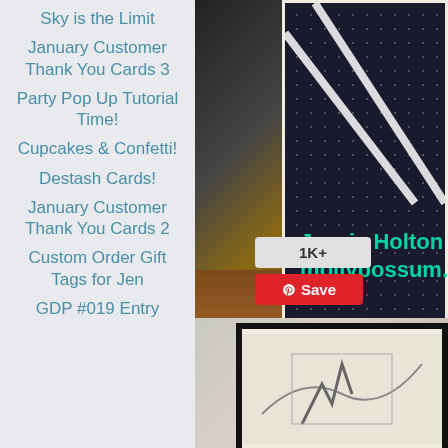Sky is the Limit
January Customer Thank You Cards 3
Party Pop Up Tutorial Time!
Cupcakes & Confetti!
Destash Cards!
January Customer Thank You Cards 2
Custom Order Gift Tags for Jen
GDP #019 Entry
[Figure (photo): Dark patterned card with small dot/circle pattern on dark background, sitting on a wooden surface. Green overlay text reading 'Jessie Holton mollypossum.' Pinterest 1K+ and Save buttons visible.]
[Figure (photo): Framed artwork on light purple/lavender background, showing decorative card with dark border.]